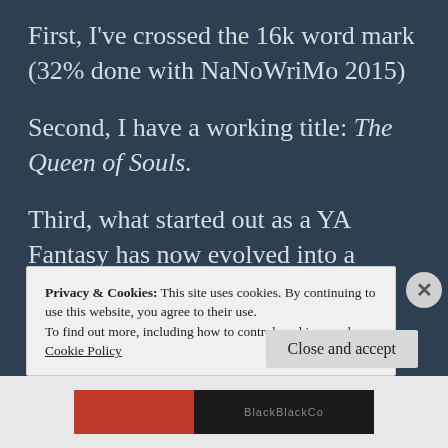First, I've crossed the 16k word mark (32% done with NaNoWriMo 2015)
Second, I have a working title: The Queen of Souls.
Third, what started out as a YA Fantasy has now evolved into a ParaRom (something I NEVER expected)
Privacy & Cookies: This site uses cookies. By continuing to use this website, you agree to their use.
To find out more, including how to control cookies, see here:
Cookie Policy
Close and accept